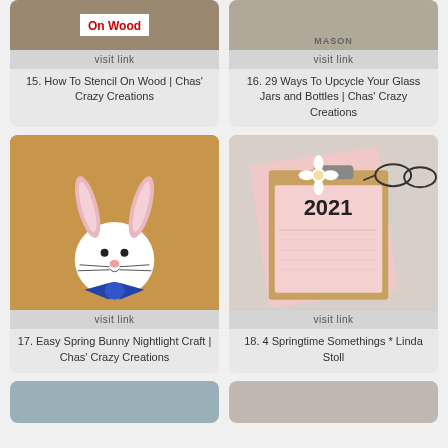[Figure (photo): Photo of wood stenciling project with red text 'On Wood']
visit link
15. How To Stencil On Wood | Chas' Crazy Creations
[Figure (photo): Photo of mason jars and bottles on a granite surface]
visit link
16. 29 Ways To Upcycle Your Glass Jars and Bottles | Chas' Crazy Creations
[Figure (photo): Photo of a spring bunny nightlight craft - white ball with pipe cleaner ears and blue bow tie]
visit link
17. Easy Spring Bunny Nightlight Craft | Chas' Crazy Creations
[Figure (photo): Photo of a pink clipboard with 2021 calendar, glasses, and a flower]
visit link
18. 4 Springtime Somethings * Linda Stoll
[Figure (photo): Partial photo at bottom left, partially cut off]
[Figure (photo): Partial photo at bottom right, partially cut off]